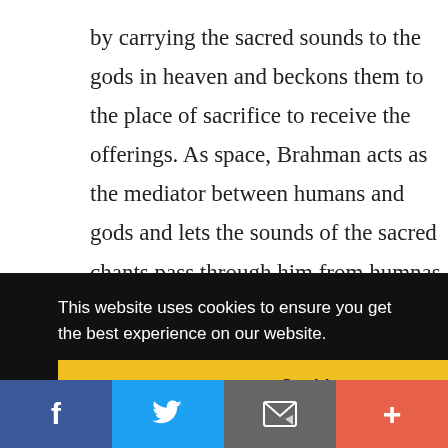by carrying the sacred sounds to the gods in heaven and beckons them to the place of sacrifice to receive the offerings. As space, Brahman acts as the mediator between humans and gods and lets the sounds of the sacred chants pass through him from humnas to gods. He carries our speech and prayers from place to place, from one direction to another,
[Figure (screenshot): Cookie consent banner with black background, white text reading 'This website uses cookies to ensure you get the best experience on our website.' and a yellow 'Got it!' button. Partial text visible on right side: 'er' and 'ds'.]
[Figure (infographic): Social sharing bar at bottom with four colored buttons: Facebook (blue, f icon), Twitter (light blue, bird icon), Email/share (grey, envelope icon), More (red-orange, plus icon).]